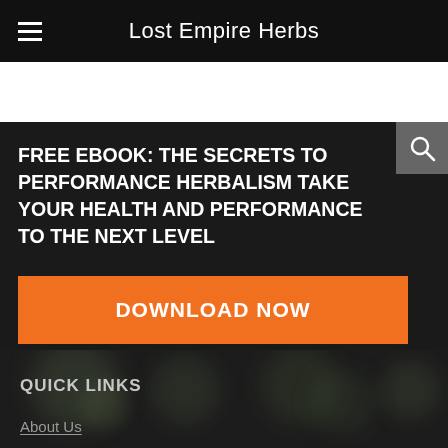Lost Empire Herbs
FREE EBOOK: THE SECRETS TO PERFORMANCE HERBALISM TAKE YOUR HEALTH AND PERFORMANCE TO THE NEXT LEVEL
DOWNLOAD NOW
QUICK LINKS
About Us